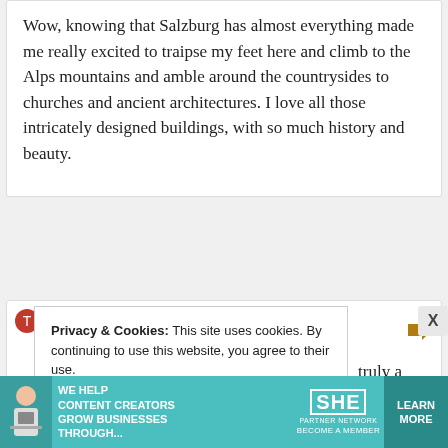Wow, knowing that Salzburg has almost everything made me really excited to traipse my feet here and climb to the Alps mountains and amble around the countrysides to churches and ancient architectures. I love all those intricately designed buildings, with so much history and beauty.
Privacy & Cookies: This site uses cookies. By continuing to use this website, you agree to their use.
To find out more, including how to control cookies, see here: Cookie Policy
truly a
[Figure (infographic): SHE Partner Network advertisement banner. Shows a woman with laptop, text 'WE HELP CONTENT CREATORS GROW BUSINESSES THROUGH...' with SHE logo and 'LEARN MORE / BECOME A MEMBER' button on teal background.]